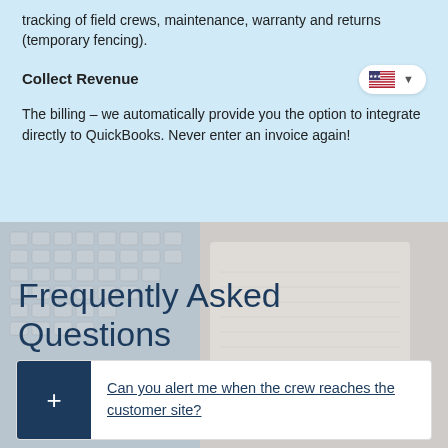tracking of field crews, maintenance, warranty and returns (temporary fencing).
Collect Revenue
The billing – we automatically provide you the option to integrate directly to QuickBooks. Never enter an invoice again!
Frequently Asked Questions
Can you alert me when the crew reaches the customer site?